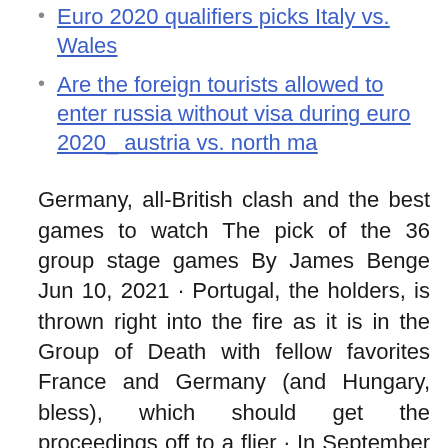Euro 2020 qualifiers picks Italy vs. Wales
Are the foreign tourists allowed to enter russia without visa during euro 2020_ austria vs. north ma
Germany, all-British clash and the best games to watch The pick of the 36 group stage games By James Benge Jun 10, 2021 · Portugal, the holders, is thrown right into the fire as it is in the Group of Death with fellow favorites France and Germany (and Hungary, bless), which should get the proceedings off to a flier · In September 2020 he reached the 100-goal mark, only the second player to do it in men's soccer history. Editor's Picks Ronaldo, Mbappe, Kane, Lukaku have fun with official Euro 2020 portraits Unless resident in Hungary, foreign nationals will be denied entry should they show signs of COVID-19. Unless in possession of